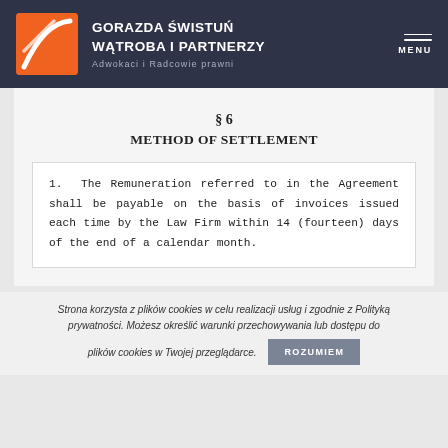GORAZDA ŚWISTUŃ WĄTROBA I PARTNERZY — Adwokaci i Radcowie prawni — MENU
§ 6
METHOD OF SETTLEMENT
1. The Remuneration referred to in the Agreement shall be payable on the basis of invoices issued each time by the Law Firm within 14 (fourteen) days of the end of a calendar month.
Strona korzysta z plików cookies w celu realizacji usług i zgodnie z Polityką prywatności. Możesz określić warunki przechowywania lub dostępu do plików cookies w Twojej przeglądarce.